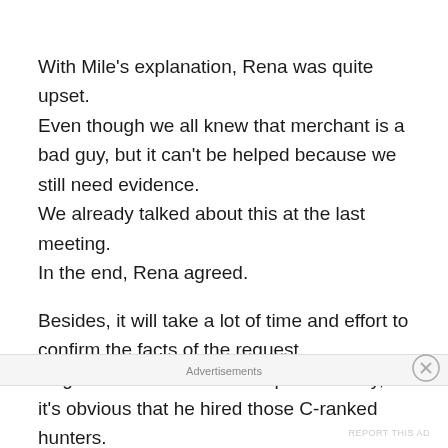With Mile's explanation, Rena was quite upset. Even though we all knew that merchant is a bad guy, but it can't be helped because we still need evidence. We already talked about this at the last meeting. In the end, Rena agreed.
Besides, it will take a lot of time and effort to confirm the facts of the request. Regardless of the case of a past robbery, it's obvious that he hired those C-ranked hunters. It is a sufficient criminal act with kidnapping and killing the
Advertisements